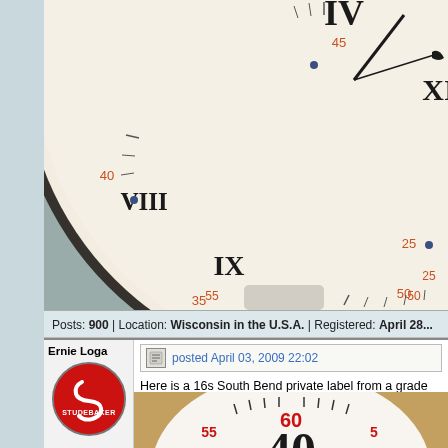[Figure (photo): Close-up photograph of a pocket watch face showing Roman numerals and a sub-dial with Arabic numerals (60, 50, 40, 30). Orange minute markers at 35, 40, 45, 50, 55, 25 visible around the edge.]
Posts: 900 | Location: Wisconsin in the U.S.A. | Registered: April 28...
Ernie Loga
[Figure (logo): Studebaker logo: red circle with white S-shaped ribbon and text STUDEBAKER]
posted April 03, 2009 22:02
Here is a 16s South Bend private label from a grade 260 fo... Reeseville, WI.
[Figure (photo): Bottom partial view of a pocket watch dial showing numbers 60, 55, 40 in red, with tick marks, on a white enamel dial against a brown/tan background.]